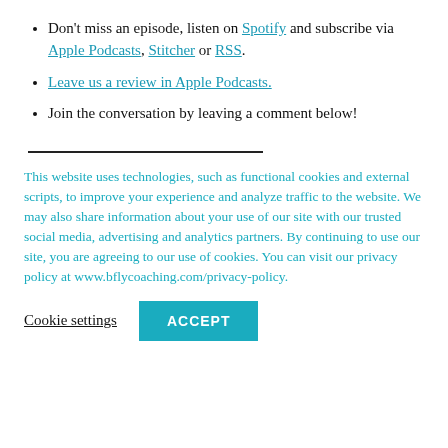Don't miss an episode, listen on Spotify and subscribe via Apple Podcasts, Stitcher or RSS.
Leave us a review in Apple Podcasts.
Join the conversation by leaving a comment below!
This website uses technologies, such as functional cookies and external scripts, to improve your experience and analyze traffic to the website. We may also share information about your use of our site with our trusted social media, advertising and analytics partners. By continuing to use our site, you are agreeing to our use of cookies. You can visit our privacy policy at www.bflycoaching.com/privacy-policy.